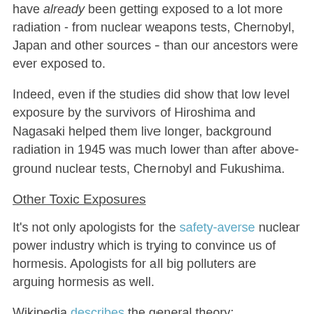have already been getting exposed to a lot more radiation - from nuclear weapons tests, Chernobyl, Japan and other sources - than our ancestors were ever exposed to.
Indeed, even if the studies did show that low level exposure by the survivors of Hiroshima and Nagasaki helped them live longer, background radiation in 1945 was much lower than after above-ground nuclear tests, Chernobyl and Fukushima.
Other Toxic Exposures
It's not only apologists for the safety-averse nuclear power industry which is trying to convince us of hormesis. Apologists for all big polluters are arguing hormesis as well.
Wikipedia describes the general theory:
Hormesis ... is the term for generally favorable biological responses to low exposures to toxins and other stressors.
Even if radiation hormesis is true, we are exposed to a wide